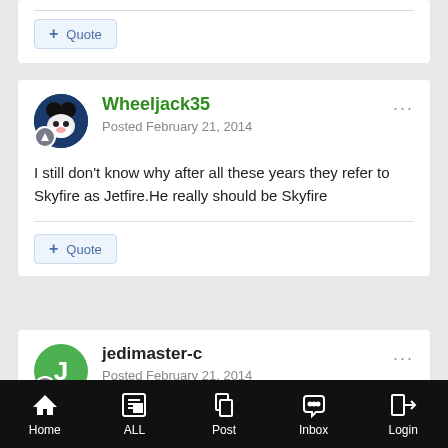Quote
Wheeljack35
Posted February 21, 2014
I still don't know why after all these years they refer to Skyfire as Jetfire.He really should be Skyfire
Quote
jedimaster-c
Posted February 21, 2014
Home   ALL   Post   Inbox   Login